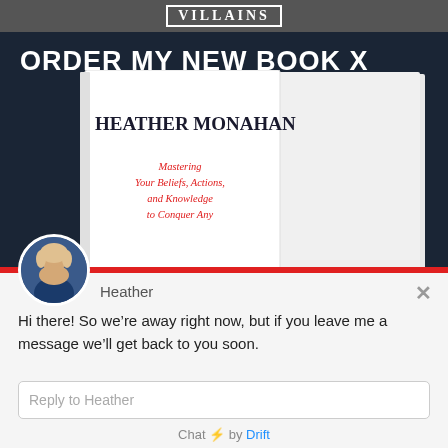[Figure (screenshot): Dark background promotional section showing 'ORDER MY NEW BOOK X' heading and a book cover for Heather Monahan with subtitle 'Mastering Your Beliefs, Actions, and Knowledge to Conquer Any']
ORDER MY NEW BOOK X
[Figure (illustration): Book cover for Heather Monahan showing author name and subtitle about Mastering Your Beliefs, Actions, and Knowledge to Conquer Any]
[Figure (photo): Circular avatar photo of Heather Monahan, a blonde woman]
Heather
Hi there! So we’re away right now, but if you leave me a message we’ll get back to you soon.
Reply to Heather
Chat ⚡ by Drift